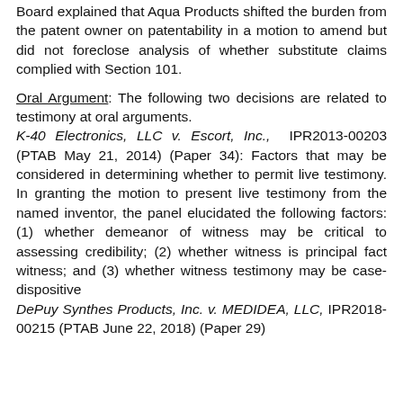Board explained that Aqua Products shifted the burden from the patent owner on patentability in a motion to amend but did not foreclose analysis of whether substitute claims complied with Section 101.
Oral Argument: The following two decisions are related to testimony at oral arguments. K-40 Electronics, LLC v. Escort, Inc., IPR2013-00203 (PTAB May 21, 2014) (Paper 34): Factors that may be considered in determining whether to permit live testimony. In granting the motion to present live testimony from the named inventor, the panel elucidated the following factors: (1) whether demeanor of witness may be critical to assessing credibility; (2) whether witness is principal fact witness; and (3) whether witness testimony may be case-dispositive DePuy Synthes Products, Inc. v. MEDIDEA, LLC, IPR2018-00215 (PTAB June 22, 2018) (Paper 29):